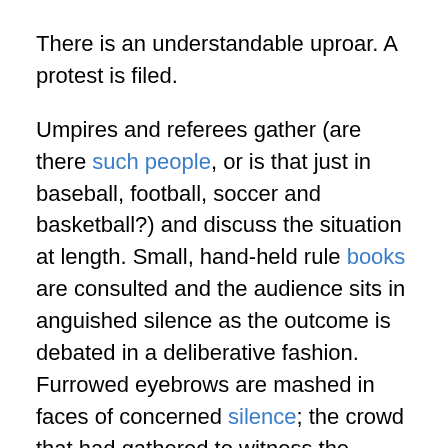There is an understandable uproar. A protest is filed.
Umpires and referees gather (are there such people, or is that just in baseball, football, soccer and basketball?) and discuss the situation at length. Small, hand-held rule books are consulted and the audience sits in anguished silence as the outcome is debated in a deliberative fashion. Furrowed eyebrows are mashed in faces of concerned silence; the crowd that had gathered to witness the sporting event argue vociferously over the unfairness of it all; television crews have arrived, having been tipped off that a major scandal has been scented and the sharks have gathered for the afternoon kill.
No one notices that a little old man who has stood watching the entire spectacle with a peaceful, quiet calm has slowly made his way onto the platform where a